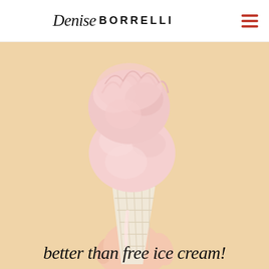Denise BORRELLI
[Figure (photo): A hand holding a waffle cone with two large scoops of pink strawberry ice cream, photographed against a warm peach/cream background. The ice cream is melting slightly. The image has a soft, pastel aesthetic.]
better than free ice cream!